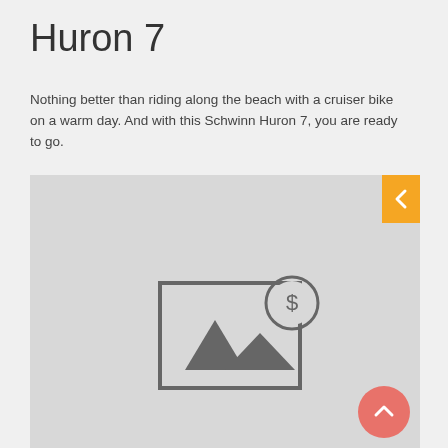Huron 7
Nothing better than riding along the beach with a cruiser bike on a warm day. And with this Schwinn Huron 7, you are ready to go.
[Figure (illustration): Placeholder image area with a landscape/mountain icon and a dollar coin badge, on a light grey background. Orange navigation arrow button on right edge and a pink/coral circular up-arrow button in lower right.]